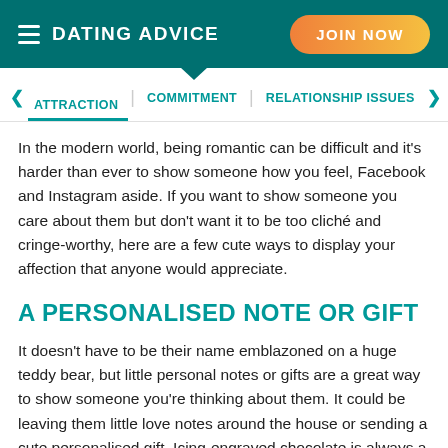DATING ADVICE | JOIN NOW
ATTRACTION | COMMITMENT | RELATIONSHIP ISSUES
In the modern world, being romantic can be difficult and it's harder than ever to show someone how you feel, Facebook and Instagram aside. If you want to show someone you care about them but don't want it to be too cliché and cringe-worthy, here are a few cute ways to display your affection that anyone would appreciate.
A PERSONALISED NOTE OR GIFT
It doesn't have to be their name emblazoned on a huge teddy bear, but little personal notes or gifts are a great way to show someone you're thinking about them. It could be leaving them little love notes around the house or sending a cute personalised gift. Icing-engraved chocolate is always a good way to go, but if you know they're not a chocolate